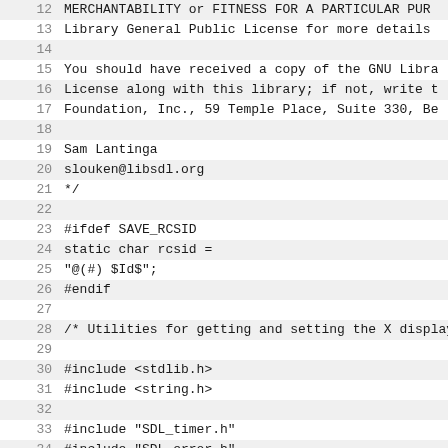Source code listing, lines 12-43, C header file with license comment and includes for SDL X11 video module
12: MERCHANTABILITY or FITNESS FOR A PARTICULAR PUR
13: Library General Public License for more details
14: (blank)
15: You should have received a copy of the GNU Libra
16: License along with this library; if not, write t
17: Foundation, Inc., 59 Temple Place, Suite 330, Be
18: (blank)
19: Sam Lantinga
20: slouken@libsdl.org
21: */
22: (blank)
23: #ifdef SAVE_RCSID
24: static char rcsid =
25:  "@(#) $Id$";
26: #endif
27: (blank)
28: /* Utilities for getting and setting the X display
29: (blank)
30: #include <stdlib.h>
31: #include <string.h>
32: (blank)
33: #include "SDL_timer.h"
34: #include "SDL_error.h"
35: #include "SDL_events.h"
36: #include "SDL_events_c.h"
37: #include "SDL_x11video.h"
38: #include "SDL_x11wm_c.h"
39: #include "SDL_x11modes_c.h"
40: #include "SDL_x11image_c.h"
41: (blank)
42: #ifdef HAVE_XINERAMA
43: #include <XFree86/extensions/Xinerama.h>